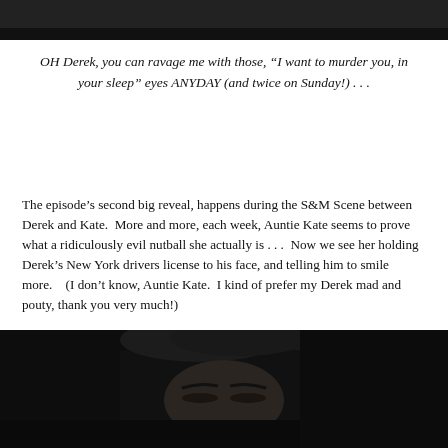[Figure (photo): Dark photograph at the top of the page, partially cropped]
OH Derek, you can ravage me with those, “I want to murder you, in your sleep” eyes ANYDAY (and twice on Sunday!) . . .
The episode’s second big reveal, happens during the S&M Scene between Derek and Kate.  More and more, each week, Auntie Kate seems to prove what a ridiculously evil nutball she actually is . . .  Now we see her holding Derek’s New York drivers license to his face, and telling him to smile more.   (I don’t know, Auntie Kate.  I kind of prefer my Derek mad and pouty, thank you very much!)
[Figure (photo): Dark photograph at the bottom of the page showing a person with dark hair, eyes closed or downcast]